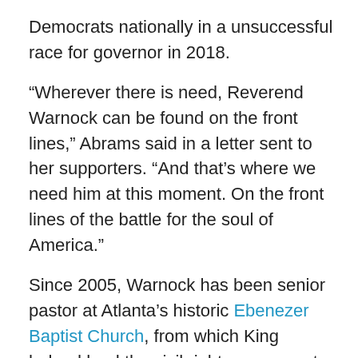Democrats nationally in a unsuccessful race for governor in 2018.
“Wherever there is need, Reverend Warnock can be found on the front lines,” Abrams said in a letter sent to her supporters. “And that’s where we need him at this moment. On the front lines of the battle for the soul of America.”
Since 2005, Warnock has been senior pastor at Atlanta’s historic Ebenezer Baptist Church, from which King helped lead the civil rights movement in the 1950s and 1960s. The Senate race is his first run for political office.
Loeffler was appointed to the Senate seat in December by Governor Brian Kemp to replace Republican Johnny Isakson, who retired due to ill health. Georgia voters will